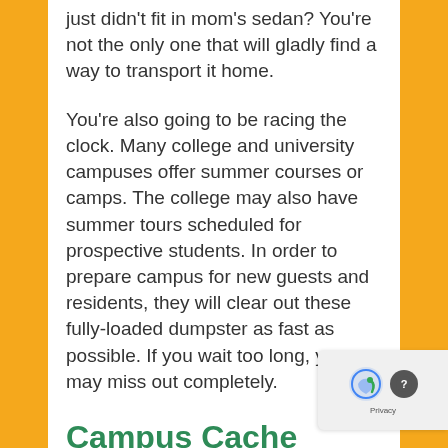just didn't fit in mom's sedan? You're not the only one that will gladly find a way to transport it home.
You're also going to be racing the clock. Many college and university campuses offer summer courses or camps. The college may also have summer tours scheduled for prospective students. In order to prepare campus for new guests and residents, they will clear out these fully-loaded dumpster as fast as possible. If you wait too long, you may miss out completely.
Campus Cache